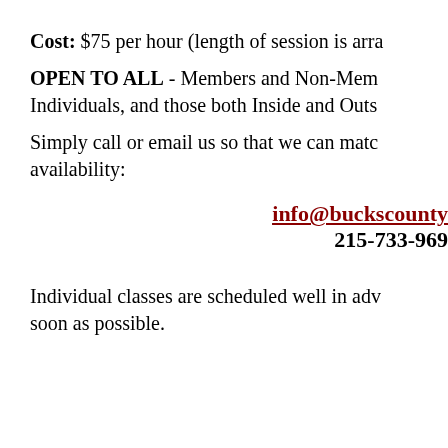Cost: $75 per hour (length of session is arra…
OPEN TO ALL - Members and Non-Mem… Individuals, and those both Inside and Outs…
Simply call or email us so that we can matc… availability:
info@buckscounty… 215-733-969…
Individual classes are scheduled well in adv… soon as possible.